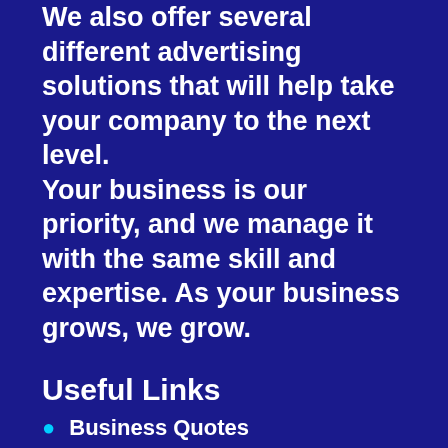We also offer several different advertising solutions that will help take your company to the next level. Your business is our priority, and we manage it with the same skill and expertise. As your business grows, we grow.
Useful Links
Business Quotes
Contact Us
Web, Marketing, SEO Services GTA
Book an Appointment
Digital Marketing Services
Web Design and Development
Real Estate Marketing